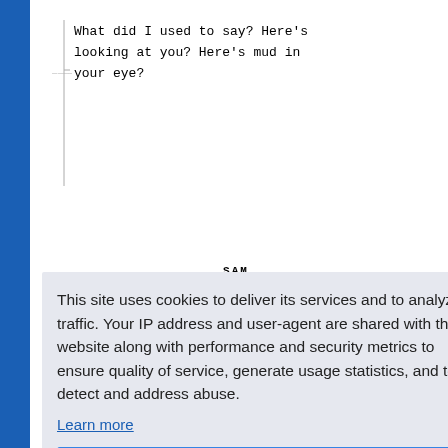What did I used to say? Here's looking at you? Here's mud in your eye?
SAM
This site uses cookies to deliver its services and to analyze traffic. Your IP address and user-agent are shared with this website along with performance and security metrics to ensure quality of service, generate usage statistics, and to detect and address abuse.
Learn more
Got it!
And we hear the television set now counting down